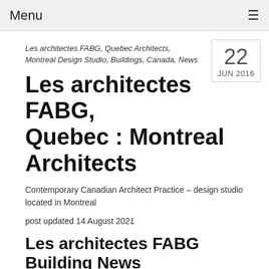Menu ☰
Les architectes FABG, Quebec Architects, Montreal Design Studio, Buildings, Canada, News
Les architectes FABG, Quebec : Montreal Architects
Contemporary Canadian Architect Practice – design studio located in Montreal
post updated 14 August 2021
Les architectes FABG Building News
22 Jul 2016